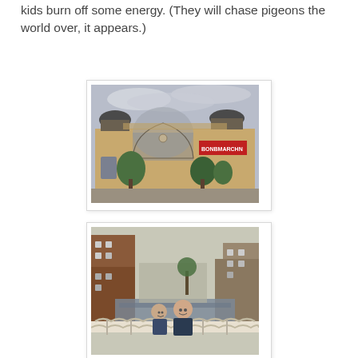kids burn off some energy. (They will chase pigeons the world over, it appears.)
[Figure (photo): Historic ornate building with large arched facade, decorative ironwork, twin domed towers, and a red sign reading 'BONDMARCHL' or similar, surrounded by trees. Overcast sky.]
[Figure (photo): A man and a young child smiling together on a decorative iron bridge over a canal, with historic Belgian/Dutch-style brick buildings lining both sides of the canal behind them.]